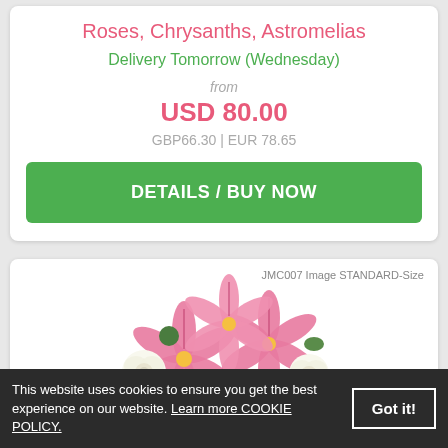Roses, Chrysanths, Astromelias
Delivery Tomorrow (Wednesday)
from
USD 80.00
GBP66.30 | EUR 78.65
DETAILS / BUY NOW
[Figure (photo): Bouquet of pink lilies and white roses with green foliage, labeled JMC007 Image STANDARD-Size]
This website uses cookies to ensure you get the best experience on our website. Learn more COOKIE POLICY.
Got it!